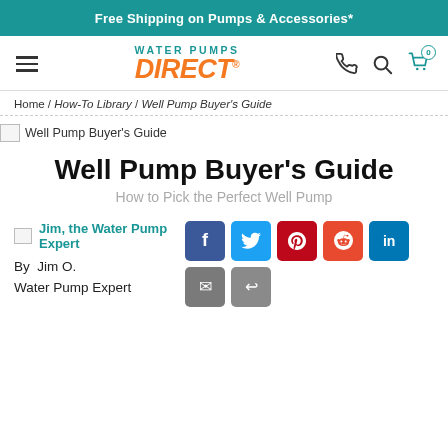Free Shipping on Pumps & Accessories*
[Figure (logo): Water Pumps Direct logo with hamburger menu, phone, search, and cart icons]
Home / How-To Library / Well Pump Buyer's Guide
[Figure (photo): Broken image placeholder for Well Pump Buyer's Guide]
Well Pump Buyer's Guide
How to Pick the Perfect Well Pump
[Figure (photo): Broken image placeholder for Jim, the Water Pump Expert]
By Jim O.
Water Pump Expert